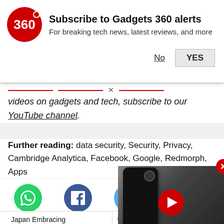[Figure (screenshot): Gadgets 360 subscribe notification banner with logo, title, subtitle, No and YES buttons]
videos on gadgets and tech, subscribe to our YouTube channel.
Further reading: data security, Security, Privacy, Cambridge Analytica, Facebook, Google, Redmorph, Apps
[Figure (other): Social share buttons: WhatsApp (green), Facebook (blue), Twitter (light blue)]
Japan Embracing Cryptocurrencies Despite Big Theft Cases
Ube Ser After Arizona Crash
[Figure (other): Video overlay showing a smartphone with red play button and caption 'After Arizona Crash']